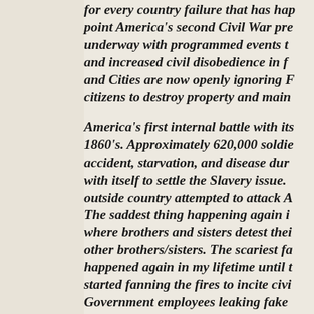for every country failure that has happened, point America's second Civil War pre underway with programmed events th and increased civil disobedience in fe and Cities are now openly ignoring F citizens to destroy property and main
America's first internal battle with its 1860's. Approximately 620,000 soldie accident, starvation, and disease dur with itself to settle the Slavery issue. outside country attempted to attack A The saddest thing happening again i where brothers and sisters detest thei other brothers/sisters. The scariest fa happened again in my lifetime until t started fanning the fires to incite civi Government employees leaking fake warfire now.